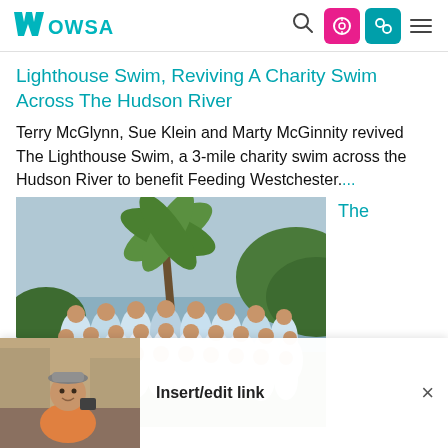WOWSA navigation bar with logo, search, and icons
Lighthouse Swim, Reviving A Charity Swim Across The Hudson River
Terry McGlynn, Sue Klein and Marty McGinnity revived The Lighthouse Swim, a 3-mile charity swim across the Hudson River to benefit Feeding Westchester....
[Figure (photo): Group photo of swimmers in white and teal t-shirts gathered near waterfront with palm tree]
The
[Figure (photo): Thumbnail of a person at a desk or counter]
Insert/edit link